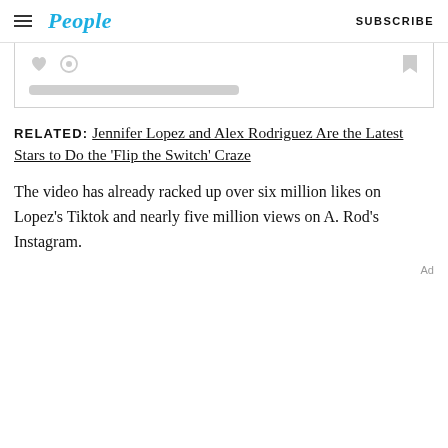People | SUBSCRIBE
[Figure (screenshot): Embedded social media post placeholder with heart, comment, and bookmark icons and a grey text bar]
RELATED: Jennifer Lopez and Alex Rodriguez Are the Latest Stars to Do the 'Flip the Switch' Craze
The video has already racked up over six million likes on Lopez's Tiktok and nearly five million views on A. Rod's Instagram.
Ad